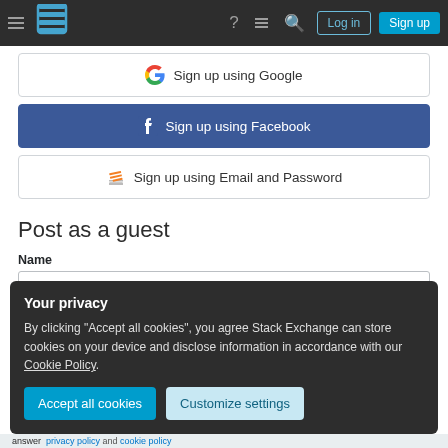Stack Exchange navigation bar with hamburger menu, logo, help, chat, search, Log in, Sign up buttons
Sign up using Google
Sign up using Facebook
Sign up using Email and Password
Post as a guest
Name
Your privacy
By clicking "Accept all cookies", you agree Stack Exchange can store cookies on your device and disclose information in accordance with our Cookie Policy.
Accept all cookies
Customize settings